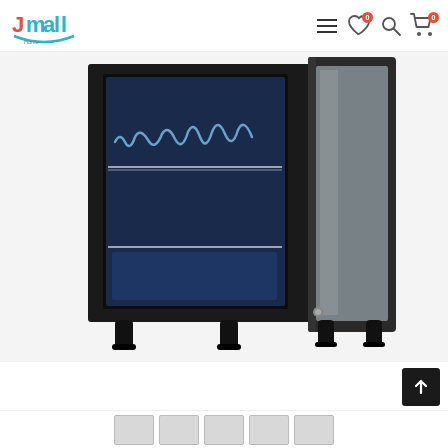Jmall Home Products
[Figure (photo): A black wine cooler/refrigerator with glass door open, showing interior wire shelving with wine bottles and blue LED lighting. Bottom view showing four black feet/legs. The glass door is swung open to the right revealing the lock mechanism.]
[Figure (other): Scroll-to-top button (dark square with upward arrow)]
[Figure (other): Thumbnail image strip at bottom of page showing product images]